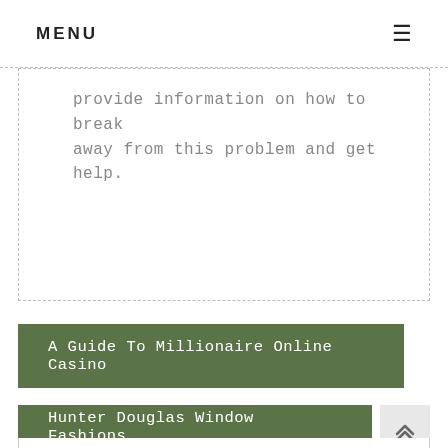MENU
provide information on how to break away from this problem and get help.
A Guide To Millionaire Online Casino
Hunter Douglas Window Fashions